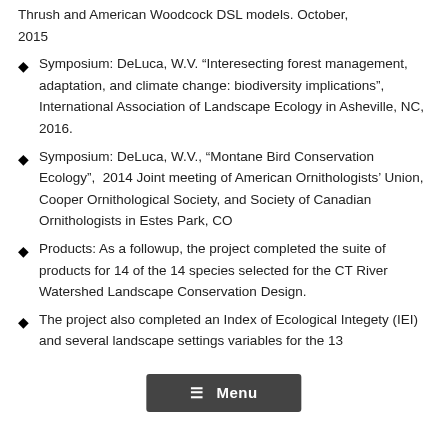Thrush and American Woodcock DSL models. October, 2015
Symposium: DeLuca, W.V. "Interesecting forest management, adaptation, and climate change: biodiversity implications", International Association of Landscape Ecology in Asheville, NC, 2016.
Symposium: DeLuca, W.V., “Montane Bird Conservation Ecology”, 2014 Joint meeting of American Ornithologists’ Union, Cooper Ornithological Society, and Society of Canadian Ornithologists in Estes Park, CO
Products: As a followup, the project completed the suite of products for 14 of the 14 species selected for the CT River Watershed Landscape Conservation Design.
The project also completed an Index of Ecological Integety (IEI) and several landscape settings variables for the 13...